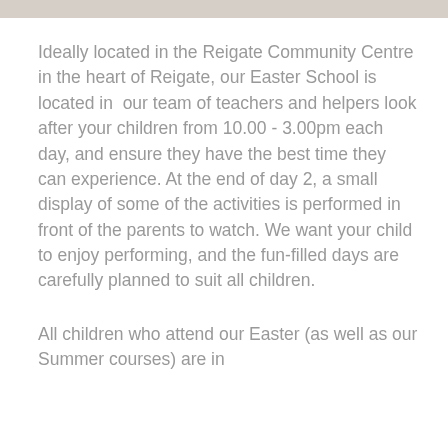[Figure (photo): Partial image strip visible at the top of the page]
Ideally located in the Reigate Community Centre in the heart of Reigate, our Easter School is located in  our team of teachers and helpers look after your children from 10.00 - 3.00pm each day, and ensure they have the best time they can experience. At the end of day 2, a small display of some of the activities is performed in front of the parents to watch. We want your child to enjoy performing, and the fun-filled days are carefully planned to suit all children.
All children who attend our Easter (as well as our Summer courses) are in